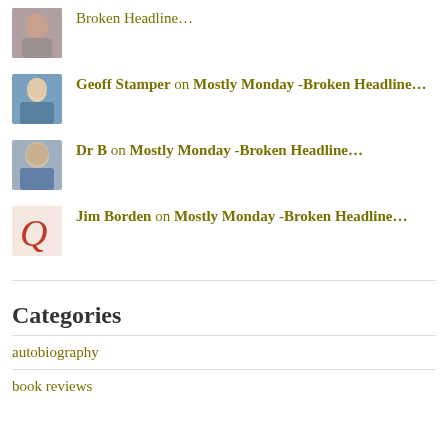Broken Headline...
Geoff Stamper on Mostly Monday -Broken Headline...
Dr B on Mostly Monday -Broken Headline...
Jim Borden on Mostly Monday -Broken Headline...
Categories
autobiography
book reviews